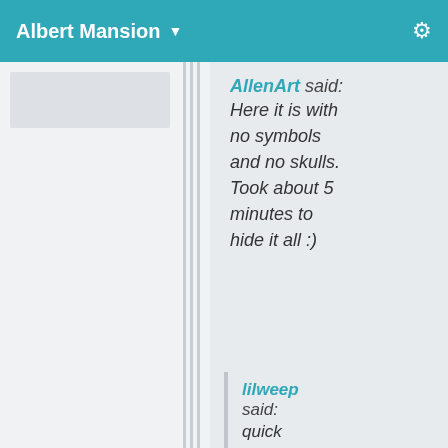Albert Mansion
AllenArt said: Here it is with no symbols and no skulls. Took about 5 minutes to hide it all :)
lilweep said: quick everyone uninstall the decals in case